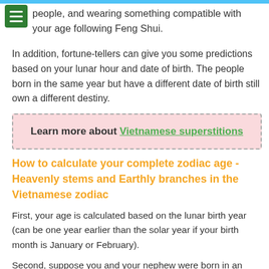people, and wearing something compatible with your age following Feng Shui.
In addition, fortune-tellers can give you some predictions based on your lunar hour and date of birth. The people born in the same year but have a different date of birth still own a different destiny.
Learn more about Vietnamese superstitions
How to calculate your complete zodiac age - Heavenly stems and Earthly branches in the Vietnamese zodiac
First, your age is calculated based on the lunar birth year (can be one year earlier than the solar year if your birth month is January or February).
Second, suppose you and your nephew were born in an